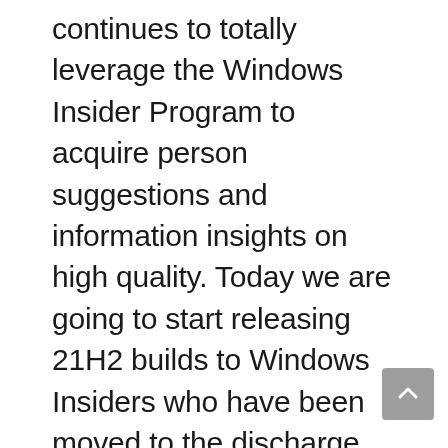continues to totally leverage the Windows Insider Program to acquire person suggestions and information insights on high quality. Today we are going to start releasing 21H2 builds to Windows Insiders who have been moved to the discharge Preview channel from the Beta channel as a result of their particular gadgets didn't meet the hardware necessities for Windows 11. This permits them to as a substitute expertise the most recent improvements and enhancements in Windows 10 (word Insiders is not going to see new options famous on this weblog immediately,